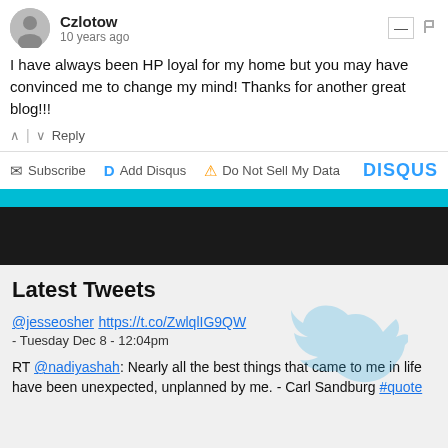Czlotow
10 years ago
I have always been HP loyal for my home but you may have convinced me to change my mind!  Thanks for another great blog!!!
^ | v  Reply
Subscribe  Add Disqus  Do Not Sell My Data  DISQUS
Latest Tweets
@jesseosher https://t.co/ZwlqlIG9QW
- Tuesday Dec 8 - 12:04pm
RT @nadiyashah: Nearly all the best things that came to me in life have been unexpected, unplanned by me. - Carl Sandburg #quote